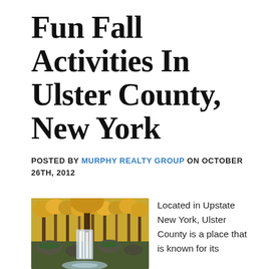Fun Fall Activities In Ulster County, New York
POSTED BY MURPHY REALTY GROUP ON OCTOBER 26TH, 2012
[Figure (photo): Autumn forest waterfall scene with yellow foliage and mossy rocks in Ulster County, New York]
Located in Upstate New York, Ulster County is a place that is known for its